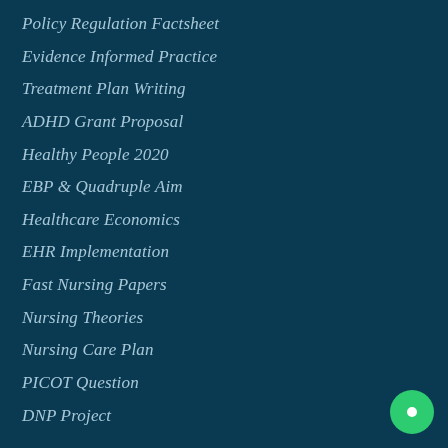Policy Regulation Factsheet
Evidence Informed Practice
Treatment Plan Writing
ADHD Grant Proposal
Healthy People 2020
EBP & Quadruple Aim
Healthcare Economics
EHR Implementation
Fast Nursing Papers
Nursing Theories
Nursing Care Plan
PICOT Question
DNP Project